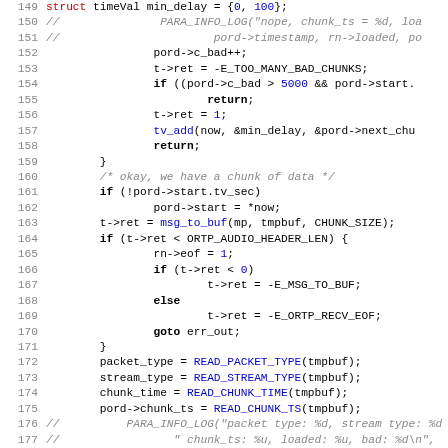[Figure (screenshot): Source code listing in C, lines 149-181, showing network packet processing logic with syntax highlighting: keywords in bold, numeric literals and function names in blue, commented lines in gray italic, and error constants in black.]